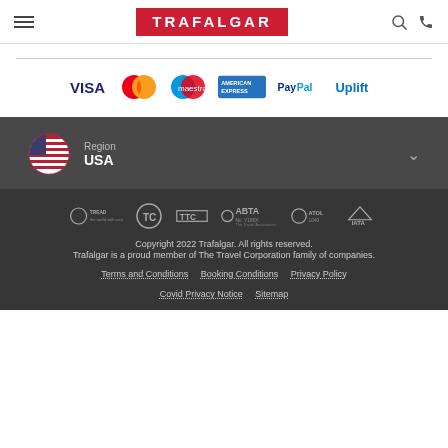TRAFALGAR
[Figure (infographic): Payment method logos: VISA, MasterCard, Maestro, American Express, PayPal, Uplift]
[Figure (infographic): USA flag circle icon with Region / USA label and chevron dropdown]
[Figure (infographic): Partner/certification logos: TreadLight, TC, TTC, ABTA No.Y180X, ATOL 1040, IATA]
Copyright 2022 Trafalgar. All rights reserved. Trafalgar is a proud member of The Travel Corporation family of companies. Terms and Conditions  Booking Conditions  Privacy Policy  Covid Privacy Notice  Sitemap